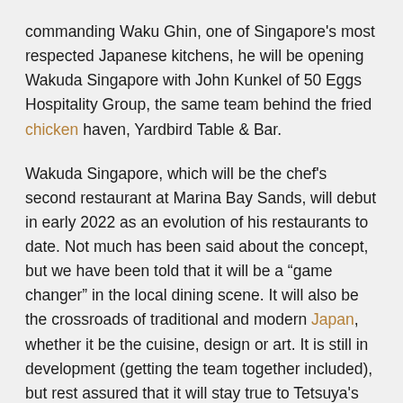commanding Waku Ghin, one of Singapore's most respected Japanese kitchens, he will be opening Wakuda Singapore with John Kunkel of 50 Eggs Hospitality Group, the same team behind the fried chicken haven, Yardbird Table & Bar.
Wakuda Singapore, which will be the chef's second restaurant at Marina Bay Sands, will debut in early 2022 as an evolution of his restaurants to date. Not much has been said about the concept, but we have been told that it will be a "game changer" in the local dining scene. It will also be the crossroads of traditional and modern Japan, whether it be the cuisine, design or art. It is still in development (getting the team together included), but rest assured that it will stay true to Tetsuya's food philosophy – in other words, it will always be more than just about the looks.
As for how excited he is about the debut...